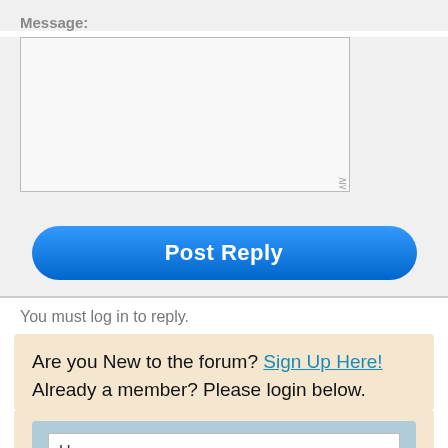Message:
[Figure (screenshot): A textarea input box for entering a message, with a resize handle in the bottom-right corner.]
[Figure (screenshot): A large blue rounded 'Post Reply' button.]
You must log in to reply.
Are you New to the forum? Sign Up Here!   Already a member? Please login below.
[Figure (screenshot): Login form with Username field, password field (filled with dots), and a teal Login button.]